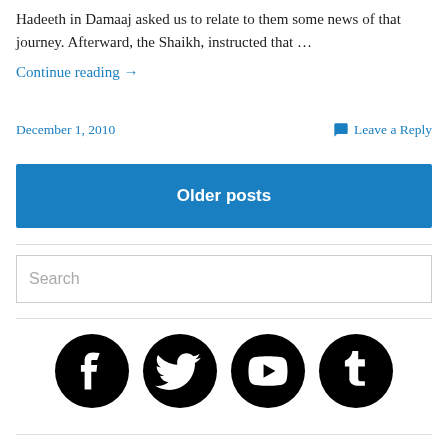Hadeeth in Damaaj asked us to relate to them some news of that journey. Afterward, the Shaikh, instructed that …
Continue reading →
December 1, 2010
Leave a Reply
Older posts
Search
[Figure (illustration): Social media icons: Facebook, Twitter, YouTube, Tumblr]